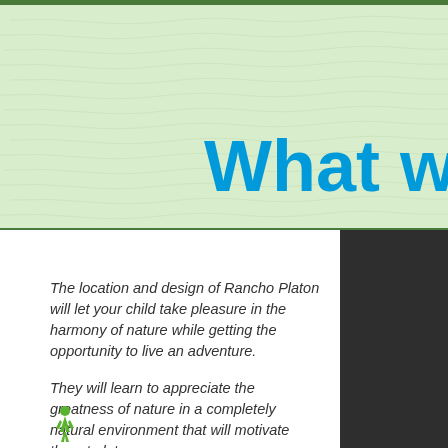[Figure (illustration): Light green textured wood-grain background panel with dark green top border stripe]
What w
The location and design of Rancho Platon will let your child take pleasure in the harmony of nature while getting the opportunity to live an adventure.
They will learn to appreciate the greatness of nature in a completely natural environment that will motivate them to let go of technology and let them...
[Figure (illustration): Small green human figure icon (person/child silhouette)]